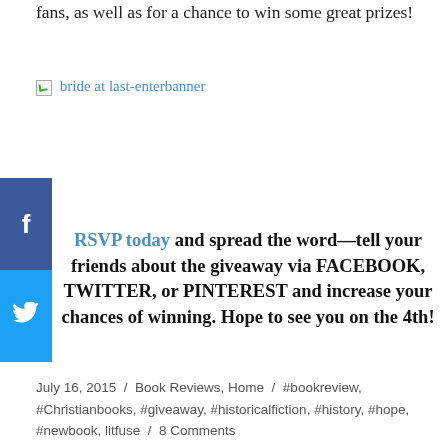fans, as well as for a chance to win some great prizes!
[Figure (other): Broken image placeholder with link text 'bride at last-enterbanner']
[Figure (other): Facebook share button (blue bar with 'f' icon)]
[Figure (other): Twitter share button (blue bar with bird icon)]
RSVP today and spread the word—tell your friends about the giveaway via FACEBOOK, TWITTER, or PINTEREST and increase your chances of winning. Hope to see you on the 4th!
July 16, 2015 / Book Reviews, Home / #bookreview, #Christianbooks, #giveaway, #historicalfiction, #history, #hope, #newbook, litfuse / 8 Comments